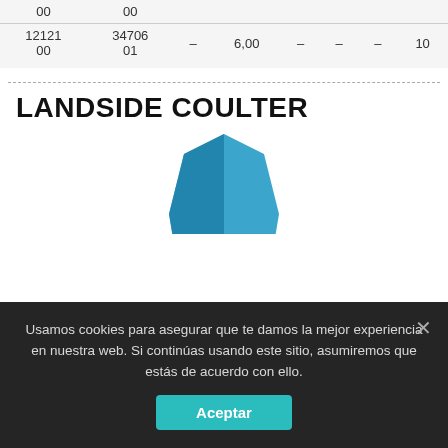| 00 | 00 |  |  |  |  |  |  |
| 12121
00 | 34706
01 | – | 6,00 | – | – | – | 10 |
LANDSIDE COULTER
[Figure (photo): Blue agricultural coulter part, partially visible]
Usamos cookies para asegurar que te damos la mejor experiencia en nuestra web. Si continúas usando este sitio, asumiremos que estás de acuerdo con ello.